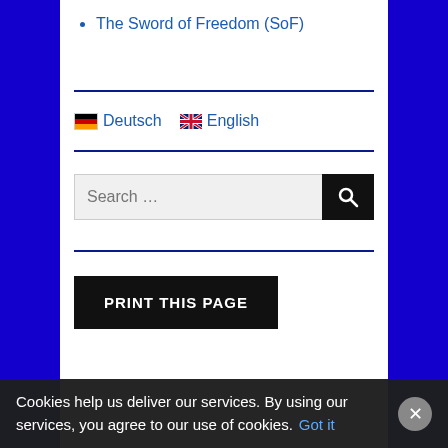The Sword of Freedom (SoF)
Deutsch   English
[Figure (screenshot): Search bar with text 'Search ...' and a black magnifying glass button]
PRINT THIS PAGE
Cookies help us deliver our services. By using our services, you agree to our use of cookies. Got it